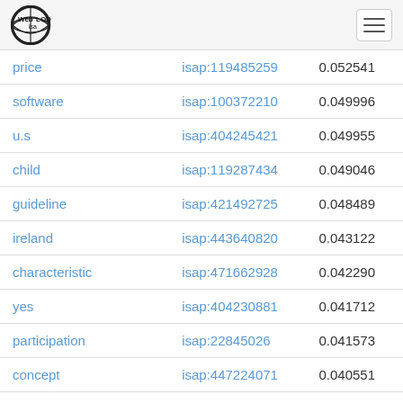Web isa LOD
| price | isap:119485259 | 0.052541 |
| software | isap:100372210 | 0.049996 |
| u.s | isap:404245421 | 0.049955 |
| child | isap:119287434 | 0.049046 |
| guideline | isap:421492725 | 0.048489 |
| ireland | isap:443640820 | 0.043122 |
| characteristic | isap:471662928 | 0.042290 |
| yes | isap:404230881 | 0.041712 |
| participation | isap:22845026 | 0.041573 |
| concept | isap:447224071 | 0.040551 |
| forest | isap:386177762 | 0.039476 |